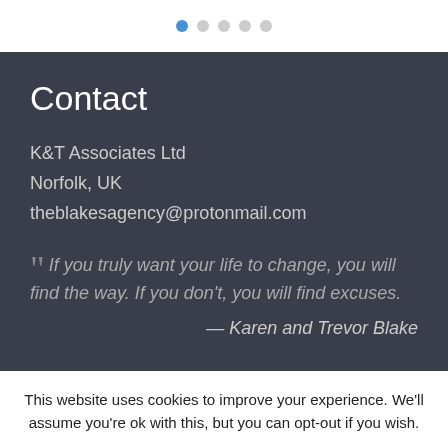• ○ ○ ○ ○ (navigation dots)
Contact
K&T Associates Ltd
Norfolk, UK
theblakesagency@protonmail.com
“If you truly want your life to change, you will find the way. If you don't, you will find excuses.
— Karen and Trevor Blake
This website uses cookies to improve your experience. We'll assume you're ok with this, but you can opt-out if you wish.
Cookie settings  ACCEPT